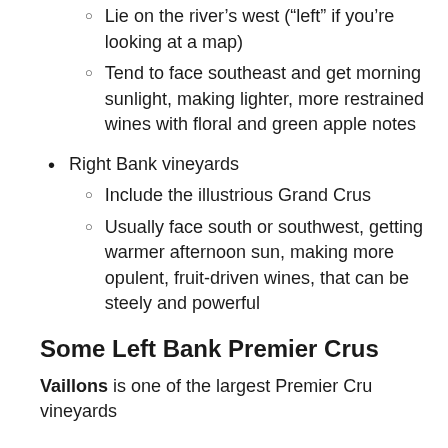Lie on the river’s west (“left” if you’re looking at a map)
Tend to face southeast and get morning sunlight, making lighter, more restrained wines with floral and green apple notes
Right Bank vineyards
Include the illustrious Grand Crus
Usually face south or southwest, getting warmer afternoon sun, making more opulent, fruit-driven wines, that can be steely and powerful
Some Left Bank Premier Crus
Vaillons is one of the largest Premier Cru vineyards